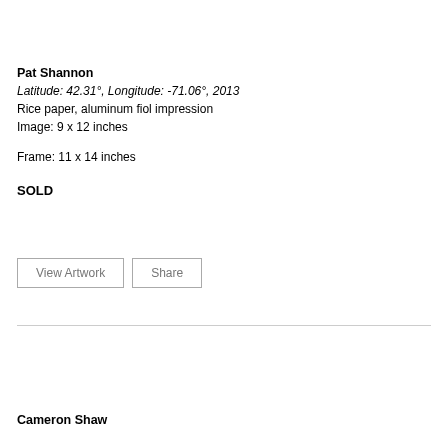Pat Shannon
Latitude: 42.31°, Longitude: -71.06°, 2013
Rice paper, aluminum fiol impression
Image: 9 x 12 inches
Frame: 11 x 14 inches
SOLD
View Artwork
Share
Cameron Shaw